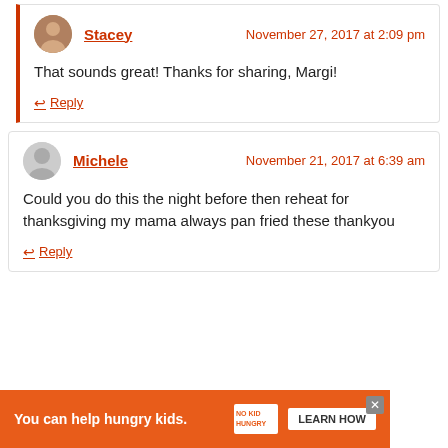Stacey — November 27, 2017 at 2:09 pm
That sounds great! Thanks for sharing, Margi!
Reply
Michele — November 21, 2017 at 6:39 am
Could you do this the night before then reheat for thanksgiving my mama always pan fried these thankyou
Reply
[Figure (other): Advertisement banner: 'You can help hungry kids.' with No Kid Hungry logo and LEARN HOW button]